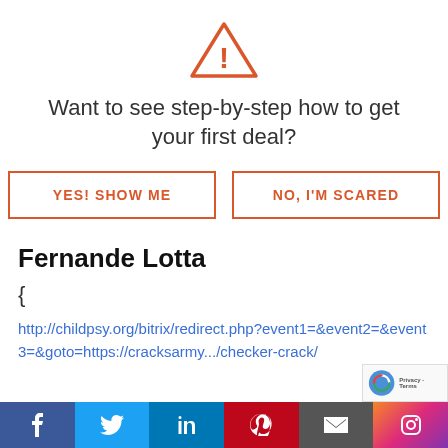[Figure (illustration): Orange warning/alert triangle icon with exclamation mark]
Want to see step-by-step how to get your first deal?
[Figure (other): Two buttons: 'YES! SHOW ME' and 'NO, I'M SCARED' with orange borders and text]
Fernande Lotta
{
http://childpsy.org/bitrix/redirect.php?event1=&event2=&event3=&goto=https://cracksarmy.../checker-crack/
[Figure (other): Social media sharing bar with Facebook, Twitter, LinkedIn, Pinterest, Email, Instagram buttons]
[Figure (other): reCAPTCHA badge bottom right]